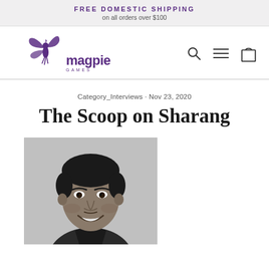FREE DOMESTIC SHIPPING on all orders over $100
[Figure (logo): Magpie Games logo with hummingbird and text 'magpie GAMES' in purple]
[Figure (other): Navigation icons: search (magnifying glass), menu (hamburger lines), cart (bag)]
Category_Interviews · Nov 23, 2020
The Scoop on Sharang
[Figure (photo): Black and white headshot photo of a smiling man (Sharang), dark hair, wearing a dark shirt, gray background]